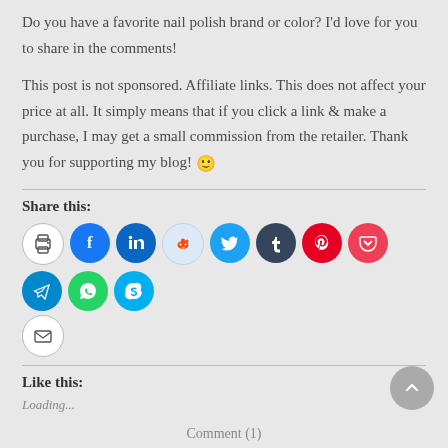Do you have a favorite nail polish brand or color? I'd love for you to share in the comments!
This post is not sponsored. Affiliate links. This does not affect your price at all. It simply means that if you click a link & make a purchase, I may get a small commission from the retailer. Thank you for supporting my blog! 🙂
Share this:
[Figure (infographic): Row of social media sharing icon buttons: print, Facebook, LinkedIn, Reddit, Twitter, Tumblr, Pinterest, Pocket, Telegram, WhatsApp, Skype, Email]
Like this:
Loading...
Comment (1)